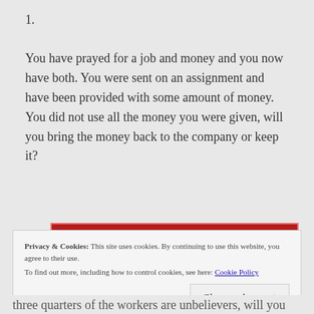1.
You have prayed for a job and money and you now have both. You were sent on an assignment and have been provided with some amount of money. You did not use all the money you were given, will you bring the money back to the company or keep it?
[Figure (other): Red advertisement banner]
REPORT THIS AD
Privacy & Cookies: This site uses cookies. By continuing to use this website, you agree to their use.
To find out more, including how to control cookies, see here: Cookie Policy
Close and accept
three quarters of the workers are unbelievers, will you